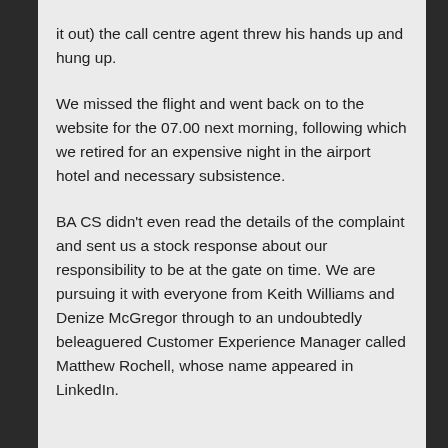it out) the call centre agent threw his hands up and hung up.
We missed the flight and went back on to the website for the 07.00 next morning, following which we retired for an expensive night in the airport hotel and necessary subsistence.
BA CS didn't even read the details of the complaint and sent us a stock response about our responsibility to be at the gate on time. We are pursuing it with everyone from Keith Williams and Denize McGregor through to an undoubtedly beleaguered Customer Experience Manager called Matthew Rochell, whose name appeared in LinkedIn.